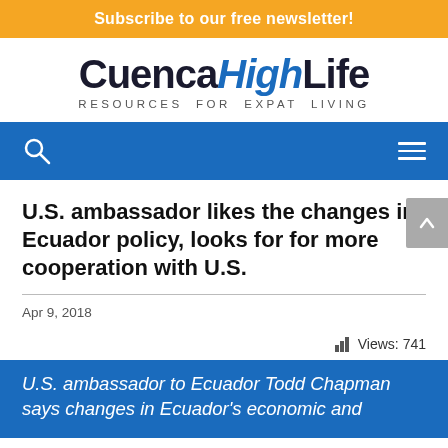Subscribe to our free newsletter!
[Figure (logo): CuencaHighLife logo with tagline RESOURCES FOR EXPAT LIVING]
[Figure (other): Blue navigation bar with search icon and hamburger menu]
U.S. ambassador likes the changes in Ecuador policy, looks for for more cooperation with U.S.
Apr 9, 2018
Views: 741
U.S. ambassador to Ecuador Todd Chapman says changes in Ecuador's economic and